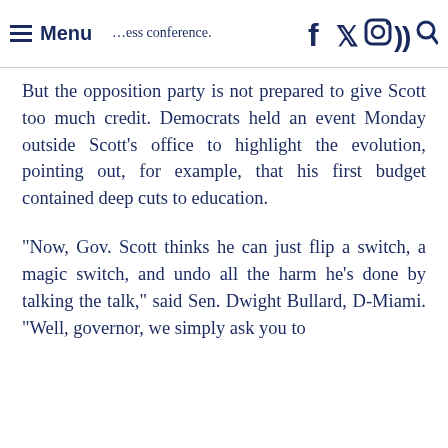Menu ... press conference.
But the opposition party is not prepared to give Scott too much credit. Democrats held an event Monday outside Scott’s office to highlight the evolution, pointing out, for example, that his first budget contained deep cuts to education.
“Now, Gov. Scott thinks he can just flip a switch, a magic switch, and undo all the harm he’s done by talking the talk,” said Sen. Dwight Bullard, D-Miami. “Well, governor, we simply ask you to